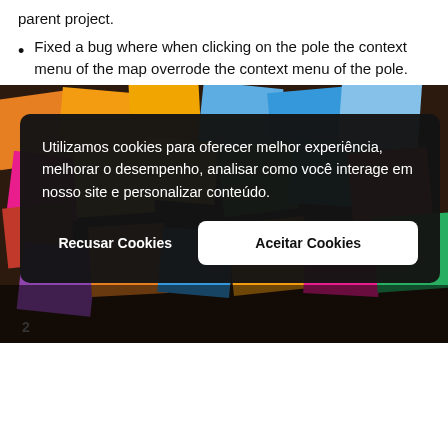parent project.
Fixed a bug where when clicking on the pole the context menu of the map overrode the context menu of the pole.
[Figure (photo): A colorful wall covered with many sticky notes of various colors including orange, yellow, blue, pink, green and teal, overlaid with a cookie consent dialog in Portuguese.]
Utilizamos cookies para oferecer melhor experiência, melhorar o desempenho, analisar como você interage em nosso site e personalizar conteúdo.
Recusar Cookies
Aceitar Cookies